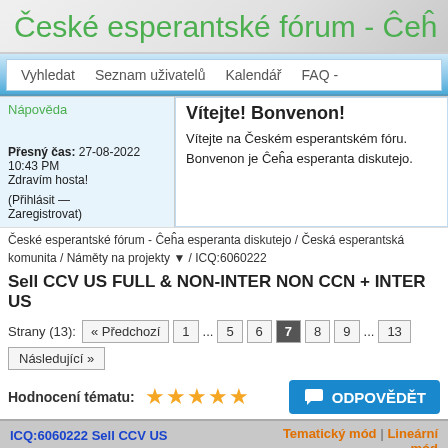České esperantské fórum - Ĉeĥ
Vyhledat   Seznam uživatelů   Kalendář   FAQ -
Nápověda
Vítejte! Bonvenon!
Vítejte na Českém esperantském fóru.
Bonvenon je Ĉeĥa esperanta diskutejo.
Přesný čas: 27-08-2022 10:43 PM
Zdravím hosta!
(Přihlásit — Zaregistrovat)
České esperantské fórum - Ĉeĥa esperanta diskutejo / Česká esperantská komunita / Náměty na projekty ▼ / ICQ:6060222
Sell CCV US FULL & NON-INTER NON CCN + INTER US
Strany (13): « Předchozí  1 … 5  6  7  8  9 … 13  Následující »
Hodnocení tématu:
ODPOVĚDĚT
ICQ:6060222 Sell CCV US FULL & NON-INTER NON CCN + INTER US
Tematický mód | Lineární mód